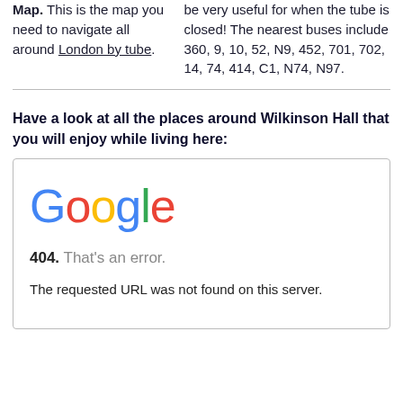Map. This is the map you need to navigate all around London by tube.
be very useful for when the tube is closed! The nearest buses include 360, 9, 10, 52, N9, 452, 701, 702, 14, 74, 414, C1, N74, N97.
Have a look at all the places around Wilkinson Hall that you will enjoy while living here:
[Figure (screenshot): Screenshot of a Google 404 error page showing the Google logo, '404. That's an error.' message, and 'The requested URL was not found on this server.']